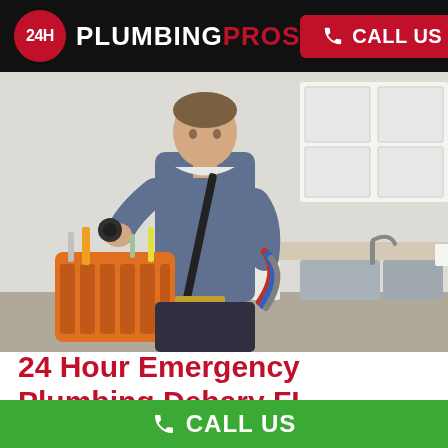[Figure (logo): 24H Plumbing Pros logo — dark bar with red circle '24H' and white/red text 'PLUMBINGPROS', plus red 'CALL US' button with phone icon in top-right]
[Figure (photo): Plumber carrying orange tool bag and colored hoses in a kitchen with stainless steel sink and white cabinets]
24 Hour Emergency Plumbing Debary FL
CALL US